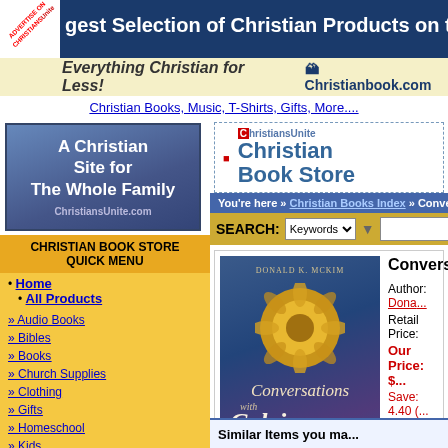gest Selection of Christian Products on the Web
[Figure (logo): Christianbook.com banner - Everything Christian for Less!]
Christian Books, Music, T-Shirts, Gifts, More....
[Figure (logo): ChristiansUnite.com - A Christian Site for The Whole Family]
CHRISTIAN BOOK STORE QUICK MENU
Home
All Products
Audio Books
Bibles
Books
Church Supplies
Clothing
Gifts
Homeschool
Kids
Music
Software
Spanish Products
Video / DVD
[Figure (logo): ChristiansUnite Christian Book Store logo]
You're here » Christian Books Index » Conversations wi...
SEARCH: Keywords [input] G
[Figure (photo): Book cover: Conversations with Calvin by Donald K. McKim - Daily Devotions]
Conversat...
Author: Dona...
Retail Price:
Our Price: $
Save: 4.40 (
Availability: I...
MORE INFORM...
Similar Items you ma...